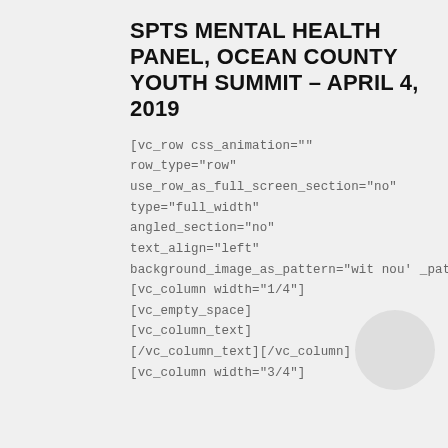SPTS MENTAL HEALTH PANEL, OCEAN COUNTY YOUTH SUMMIT – APRIL 4, 2019
[vc_row css_animation="" row_type="row" use_row_as_full_screen_section="no" type="full_width" angled_section="no" text_align="left" background_image_as_pattern="without_pattern"][vc_column width="1/4"][vc_empty_space][vc_column_text][/vc_column_text][/vc_column][vc_column width="3/4"]